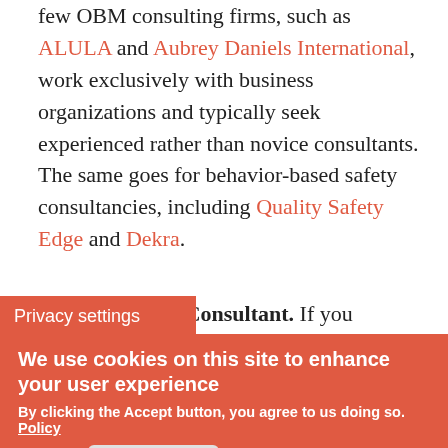few OBM consulting firms, such as ALULA and Aubrey Daniels International, work exclusively with business organizations and typically seek experienced rather than novice consultants. The same goes for behavior-based safety consultancies, including Quality Safety Edge and Dekra.
2. The Internal Consultant. If you [see the job descriptions of larger]
Privacy settings
We use cookies on this site to enhance your user experience
By clicking the Accept button, you agree to us doing so. Policy
Accept   No, thanks